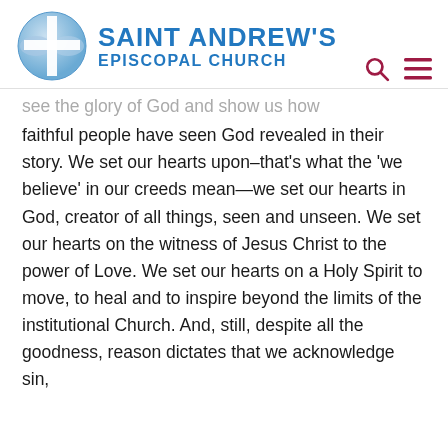[Figure (logo): Saint Andrew's Episcopal Church logo with blue cross globe icon and text]
see the glory of God and show us how faithful people have seen God revealed in their story. We set our hearts upon–that's what the 'we believe' in our creeds mean—we set our hearts in God, creator of all things, seen and unseen. We set our hearts on the witness of Jesus Christ to the power of Love. We set our hearts on a Holy Spirit to move, to heal and to inspire beyond the limits of the institutional Church. And, still, despite all the goodness, reason dictates that we acknowledge sin, wickedness, injustice that infects our lives. We